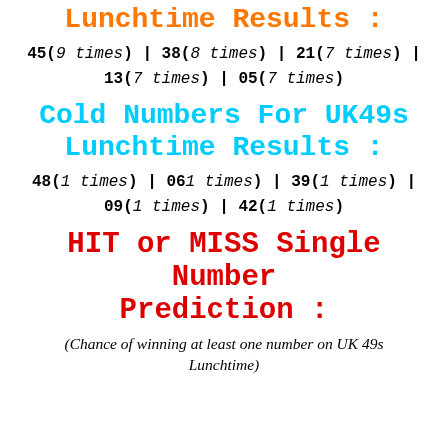Hot Numbers For UK49s Lunchtime Results :
45(9 times) | 38(8 times) | 21(7 times) | 13(7 times) | 05(7 times)
Cold Numbers For UK49s Lunchtime Results :
48(1 times) | 061 times) | 39(1 times) | 09(1 times) | 42(1 times)
HIT or MISS Single Number Prediction :
(Chance of winning at least one number on UK 49s Lunchtime)